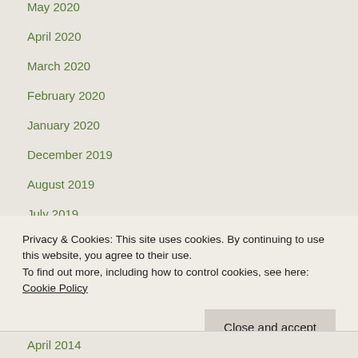May 2020
April 2020
March 2020
February 2020
January 2020
December 2019
August 2019
July 2019
March 2019
April 2017
Privacy & Cookies: This site uses cookies. By continuing to use this website, you agree to their use. To find out more, including how to control cookies, see here: Cookie Policy
April 2014